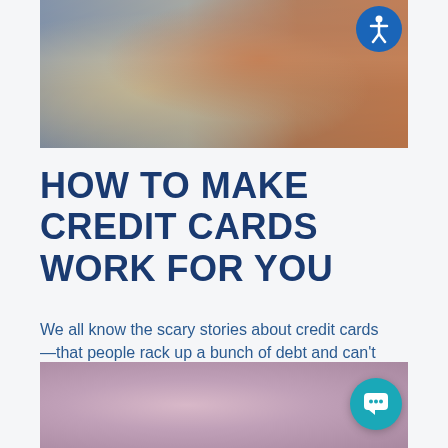[Figure (photo): Person using a tablet/iPad at a desk with a laptop in the background, wearing a red/orange sweater, viewed from behind]
HOW TO MAKE CREDIT CARDS WORK FOR YOU
We all know the scary stories about credit cards—that people rack up a bunch of debt and can't seem...
[Figure (photo): Person in a white shirt holding a tablet outdoors, blurred pink/purple bokeh background]